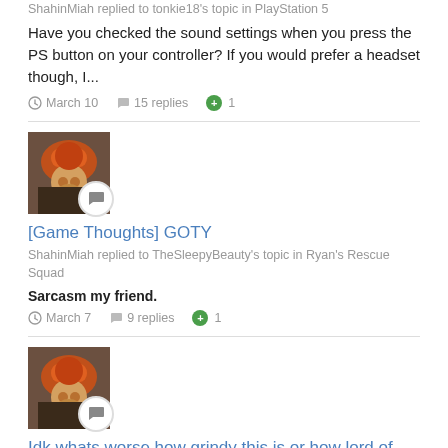ShahinMiah replied to tonkie18's topic in PlayStation 5
Have you checked the sound settings when you press the PS button on your controller? If you would rather prefer a headset though, I...
March 10   15 replies   +1
[Figure (illustration): User avatar thumbnail with speech bubble icon overlay]
[Game Thoughts] GOTY
ShahinMiah replied to TheSleepyBeauty's topic in Ryan's Rescue Squad
Sarcasm my friend.
March 7   9 replies   +1
[Figure (illustration): User avatar thumbnail with speech bubble icon overlay]
Idk whats worse how grindy this is or how lord of the rings hobbit started the backtracky quests
ShahinMiah replied to Italianlaaaad2's topic in LEGO Jurassic World